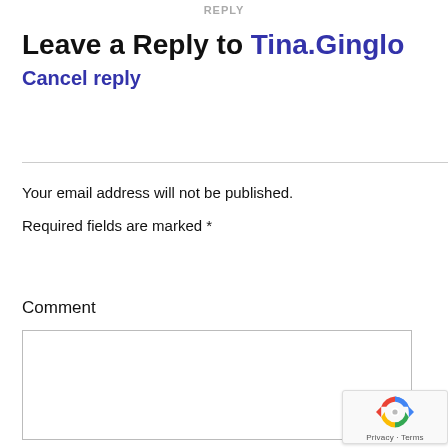REPLY
Leave a Reply to Tina.Ginglo
Cancel reply
Your email address will not be published.
Required fields are marked *
Comment
[Figure (other): reCAPTCHA badge with spinning arrows icon and Privacy - Terms text]